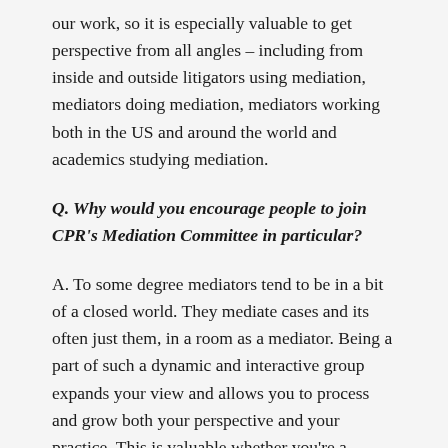our work, so it is especially valuable to get perspective from all angles – including from inside and outside litigators using mediation, mediators doing mediation, mediators working both in the US and around the world and academics studying mediation.
Q. Why would you encourage people to join CPR's Mediation Committee in particular?
A. To some degree mediators tend to be in a bit of a closed world. They mediate cases and its often just them, in a room as a mediator. Being a part of such a dynamic and interactive group expands your view and allows you to process and grow both your perspective and your practice. This is valuable whether you're a mediator trying to develop your own practice, or a litigator from a corporation or a law firm who is involved